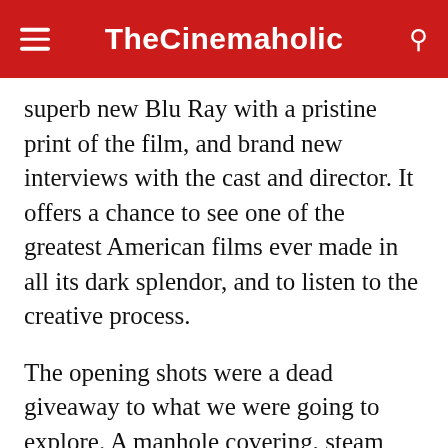TheCinemaholic
superb new Blu Ray with a pristine print of the film, and brand new interviews with the cast and director. It offers a chance to see one of the greatest American films ever made in all its dark splendor, and to listen to the creative process.
The opening shots were a dead giveaway to what we were going to explore. A manhole covering, steam pouring out it, like hell being held back by man made steel. This was New York City before Guiliani cleaned it up, when Times Square was a haven for hooker and